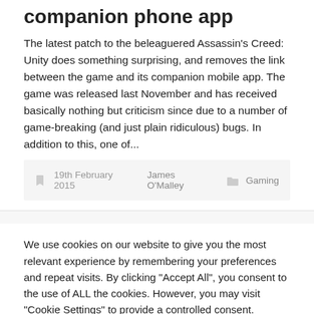companion phone app
The latest patch to the beleaguered Assassin's Creed: Unity does something surprising, and removes the link between the game and its companion mobile app. The game was released last November and has received basically nothing but criticism since due to a number of game-breaking (and just plain ridiculous) bugs. In addition to this, one of...
19th February 2015   James O'Malley   Gaming
We use cookies on our website to give you the most relevant experience by remembering your preferences and repeat visits. By clicking "Accept All", you consent to the use of ALL the cookies. However, you may visit "Cookie Settings" to provide a controlled consent.
Cookie Settings   Accept All